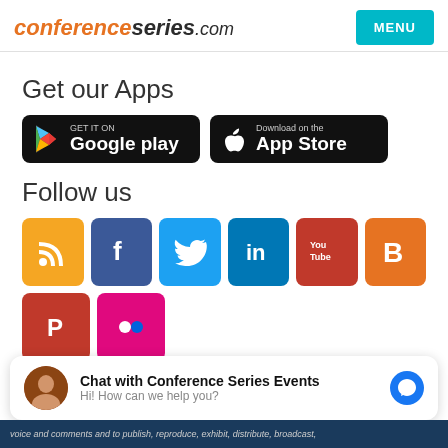conferenceseries.com
Get our Apps
[Figure (logo): Google Play and App Store download buttons]
Follow us
[Figure (infographic): Social media icons: RSS, Facebook, Twitter, LinkedIn, YouTube, Blogger, Pinterest, Flickr]
Chat with Conference Series Events
Hi! How can we help you?
voice and comments and to publish, reproduce, exhibit, distribute, broadcast,